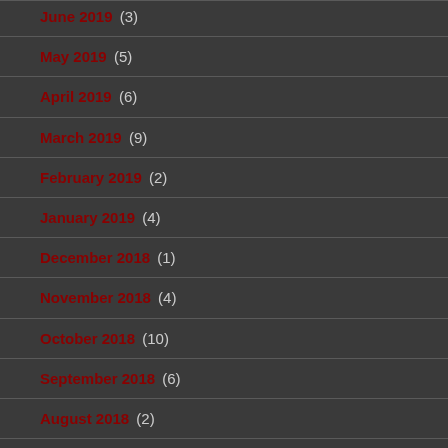June 2019 (3)
May 2019 (5)
April 2019 (6)
March 2019 (9)
February 2019 (2)
January 2019 (4)
December 2018 (1)
November 2018 (4)
October 2018 (10)
September 2018 (6)
August 2018 (2)
July 2018 (7)
May 2018 (5)